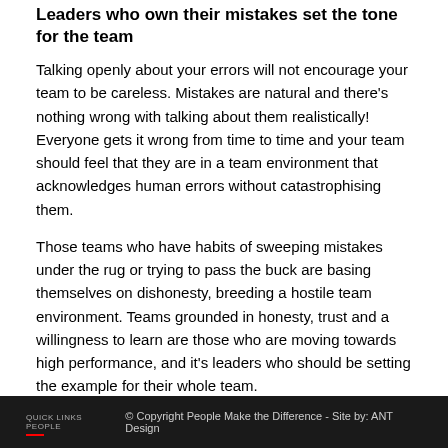Leaders who own their mistakes set the tone for the team
Talking openly about your errors will not encourage your team to be careless. Mistakes are natural and there's nothing wrong with talking about them realistically! Everyone gets it wrong from time to time and your team should feel that they are in a team environment that acknowledges human errors without catastrophising them.
Those teams who have habits of sweeping mistakes under the rug or trying to pass the buck are basing themselves on dishonesty, breeding a hostile team environment. Teams grounded in honesty, trust and a willingness to learn are those who are moving towards high performance, and it's leaders who should be setting the example for their whole team.
QUICK LINKS   PEOPLE   © Copyright People Make the Difference - Site by: ANT Design